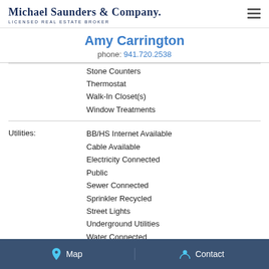Michael Saunders & Company. LICENSED REAL ESTATE BROKER
Amy Carrington
phone: 941.720.2538
Stone Counters
Thermostat
Walk-In Closet(s)
Window Treatments
Utilities:
BB/HS Internet Available
Cable Available
Electricity Connected
Public
Sewer Connected
Sprinkler Recycled
Street Lights
Underground Utilities
Water Connected
Map   Contact